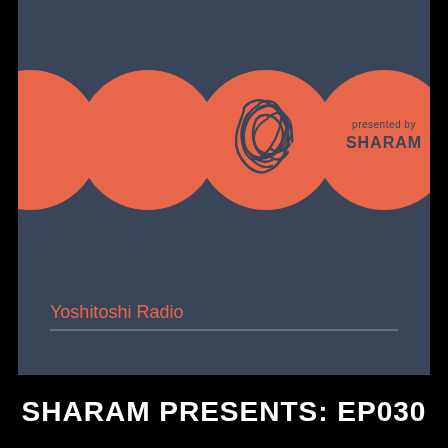[Figure (illustration): Album art for Yoshitoshi Radio presented by Sharam. Dark blue/slate background with four salmon/coral circles in a horizontal row. The third circle contains the Yoshitoshi Records logo (stylized figure). The fourth circle contains text 'presented by SHARAM'. Text 'Yoshitoshi Radio' in coral appears at the bottom of the image above a horizontal rule.]
SHARAM PRESENTS: EP030